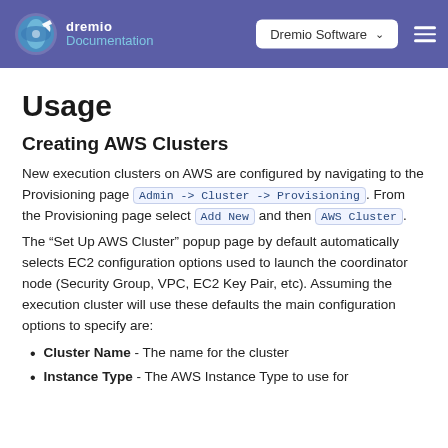dremio Documentation | Dremio Software
Usage
Creating AWS Clusters
New execution clusters on AWS are configured by navigating to the Provisioning page Admin -> Cluster -> Provisioning. From the Provisioning page select Add New and then AWS Cluster.
The “Set Up AWS Cluster” popup page by default automatically selects EC2 configuration options used to launch the coordinator node (Security Group, VPC, EC2 Key Pair, etc). Assuming the execution cluster will use these defaults the main configuration options to specify are:
Cluster Name - The name for the cluster
Instance Type - The AWS Instance Type to use for